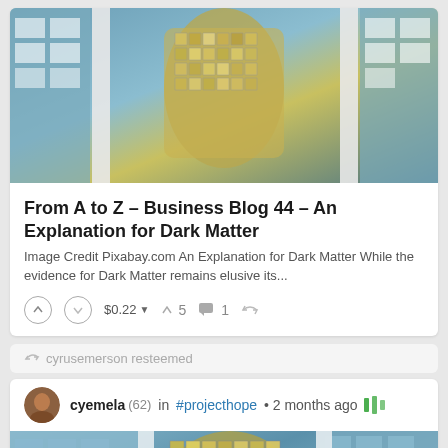[Figure (photo): Reflective metallic face sculpture in front of glass building with teal/blue tones, top portion of image]
From A to Z – Business Blog 44 – An Explanation for Dark Matter
Image Credit Pixabay.com An Explanation for Dark Matter While the evidence for Dark Matter remains elusive its...
$0.22 ▼  ↑ 5  💬 1  ⇄
⇄ cyrusemerson resteemed
cyemela (62) in #projecthope • 2 months ago
[Figure (photo): Large metallic reflective face sculpture in front of modern glass office building, blue sky tones]